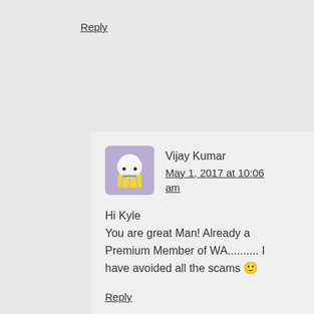Reply
[Figure (illustration): Avatar icon of a cartoon cupcake/muffin face with a purple/lavender background]
Vijay Kumar
May 1, 2017 at 10:06 am
Hi Kyle
You are great Man! Already a Premium Member of WA.......... I have avoided all the scams 🙂
Reply